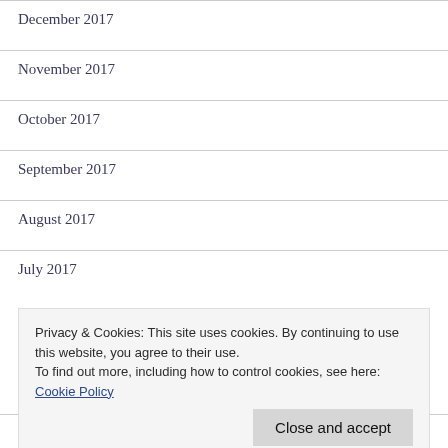December 2017
November 2017
October 2017
September 2017
August 2017
July 2017
Privacy & Cookies: This site uses cookies. By continuing to use this website, you agree to their use.
To find out more, including how to control cookies, see here: Cookie Policy
March 2017